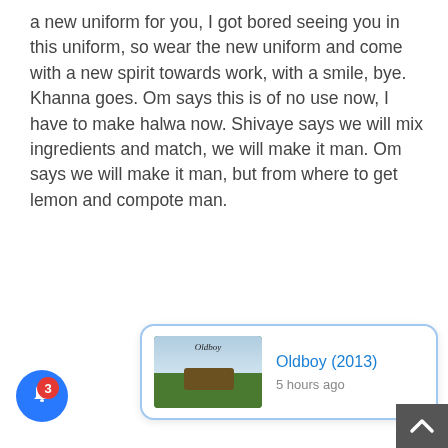a new uniform for you, I got bored seeing you in this uniform, so wear the new uniform and come with a new spirit towards work, with a smile, bye. Khanna goes. Om says this is of no use now, I have to make halwa now. Shivaye says we will mix ingredients and match, we will make it man. Om says we will make it man, but from where to get lemon and compote man.
[Figure (screenshot): A notification popup with a movie thumbnail showing a rural landscape scene, title 'Oldboy (2013)' in blue, and '5 hours ago' timestamp. Includes a close X button, a blue bell notification button with red badge showing 3, and a scroll-to-top arrow button.]